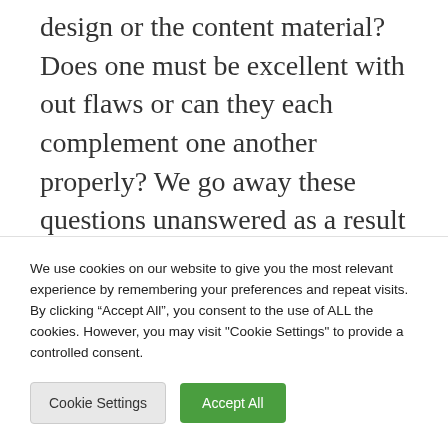design or the content material? Does one must be excellent with out flaws or can they each complement one another properly? We go away these questions unanswered as a result of they are going to all the time be debatable, however we can provide you some recommendations on easy methods to make your journey brochure design look skilled. Understand that if you're publishing your journey brochure on-line, it is best to take
We use cookies on our website to give you the most relevant experience by remembering your preferences and repeat visits. By clicking “Accept All”, you consent to the use of ALL the cookies. However, you may visit "Cookie Settings" to provide a controlled consent.
Cookie Settings | Accept All